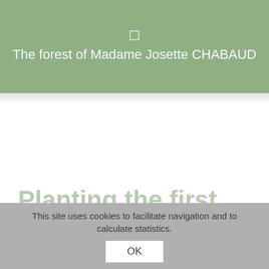The forest of Madame Josette CHABAUD
Planting the first tree
22 minutes ago
This site uses cookies to facilitate navigation and to calculate statistics.